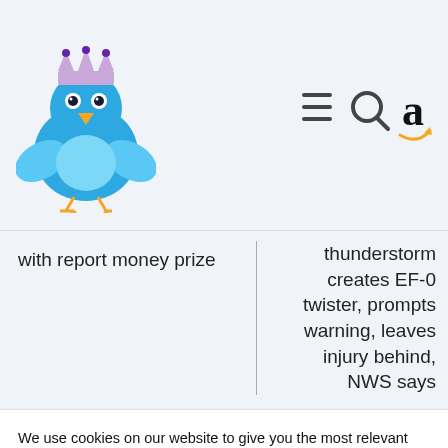[Figure (logo): Blue bird mascot with crown (Twitter-style bird logo)]
[Figure (logo): Header icons: hamburger menu, search magnifier, Amazon 'a' with smile logo]
with report money prize
thunderstorm creates EF-0 twister, prompts warning, leaves injury behind, NWS says
We use cookies on our website to give you the most relevant experience by remembering your preferences and repeat visits. By clicking “Accept”, you consent to the use of ALL the cookies.
Do not sell my personal information.